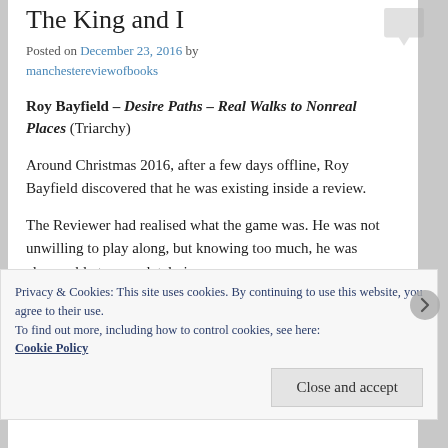The King and I
Posted on December 23, 2016 by manchestereviewofbooks
Roy Bayfield – Desire Paths – Real Walks to Nonreal Places (Triarchy)
Around Christmas 2016, after a few days offline, Roy Bayfield discovered that he was existing inside a review.
The Reviewer had realised what the game was. He was not unwilling to play along, but knowing too much, he was also unable to completely immerse.
Privacy & Cookies: This site uses cookies. By continuing to use this website, you agree to their use.
To find out more, including how to control cookies, see here: Cookie Policy